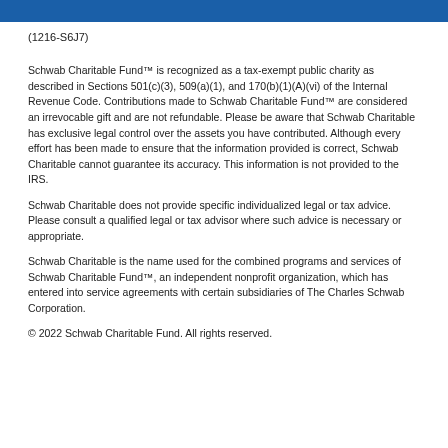(1216-S6J7)
Schwab Charitable Fund™ is recognized as a tax-exempt public charity as described in Sections 501(c)(3), 509(a)(1), and 170(b)(1)(A)(vi) of the Internal Revenue Code. Contributions made to Schwab Charitable Fund™ are considered an irrevocable gift and are not refundable. Please be aware that Schwab Charitable has exclusive legal control over the assets you have contributed. Although every effort has been made to ensure that the information provided is correct, Schwab Charitable cannot guarantee its accuracy. This information is not provided to the IRS.
Schwab Charitable does not provide specific individualized legal or tax advice. Please consult a qualified legal or tax advisor where such advice is necessary or appropriate.
Schwab Charitable is the name used for the combined programs and services of Schwab Charitable Fund™, an independent nonprofit organization, which has entered into service agreements with certain subsidiaries of The Charles Schwab Corporation.
© 2022 Schwab Charitable Fund. All rights reserved.